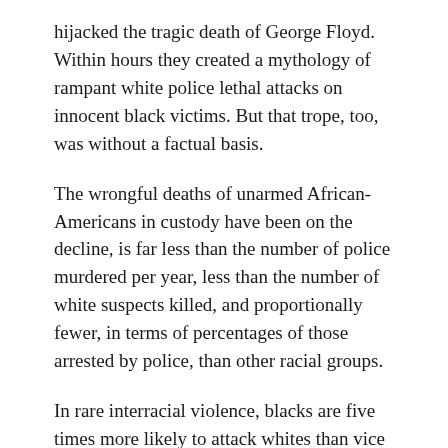hijacked the tragic death of George Floyd. Within hours they created a mythology of rampant white police lethal attacks on innocent black victims. But that trope, too, was without a factual basis.
The wrongful deaths of unarmed African-Americans in custody have been on the decline, is far less than the number of police murdered per year, less than the number of white suspects killed, and proportionally fewer, in terms of percentages of those arrested by police, than other racial groups.
In rare interracial violence, blacks are five times more likely to attack whites than vice versa. There is a tragic war against young, black males—over 7,000 murdered per year—but it is an urban genocide of sort perpetrated in liberal cities, governed by liberal mayors and governors, and overseen by liberal police chiefs. The shooters are overwhelmingly other black males.